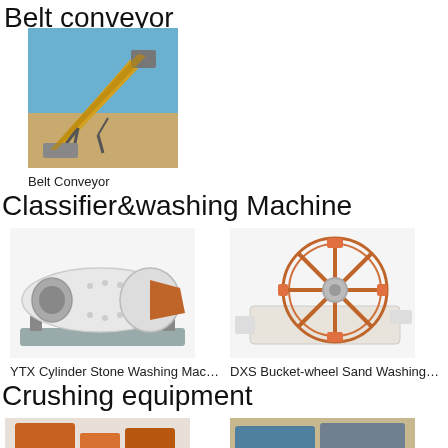Belt conveyor
[Figure (photo): Industrial belt conveyor system at a mining site with a long inclined belt structure against a clear blue sky and sandy terrain.]
Belt Conveyor
Classifier&washing Machine
[Figure (photo): YTX Cylinder Stone Washing Machine - a large cylindrical rotating drum machine on a grey base with an orange/brown outlet cone.]
YTX Cylinder Stone Washing Mac…
[Figure (photo): DXS Bucket-wheel Sand Washing machine - an orange bucket-wheel mechanism mounted on a white/cream body frame.]
DXS Bucket-wheel Sand Washing…
Crushing equipment
[Figure (photo): Partial view of crushing equipment machinery - orange/red and white mechanical parts visible at bottom of page.]
[Figure (photo): Partial view of another crushing equipment piece - blue/grey machinery against a sandy background, partially cut off.]